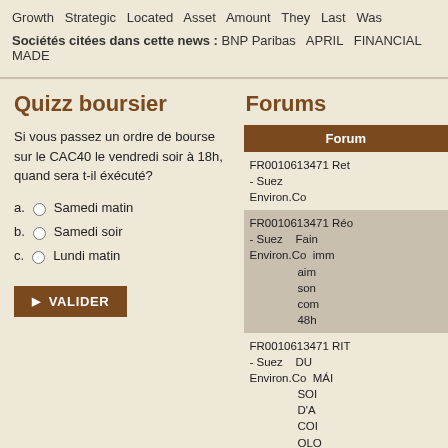Growth  Strategic  Located  Asset  Amount  They  Last  Was
Sociétés citées dans cette news : BNP Paribas  APRIL  FINANCIAL  MADE
Quizz boursier
Si vous passez un ordre de bourse sur le CAC40 le vendredi soir à 18h, quand sera t-il éxécuté?
a. Samedi matin
b. Samedi soir
c. Lundi matin
Forums
| Forum |
| --- |
| FR0010613471 Ret - Suez Environ.Co |
| FR0010613471 Réc - Suez Environ.Co  Fai imm aim son com 48h |
| FR0010613471 RIT - Suez Environ.Co  DU MÁI SOI D'A COI OLO CHA cha Cha Ritu |